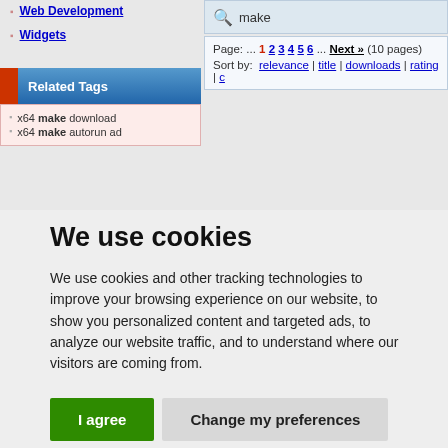Web Development
Widgets
Related Tags
x64 make download
x64 make autorun ad
make
Page: ... 1 2 3 4 5 6 ... Next » (10 pages)
Sort by: relevance | title | downloads | rating | c
We use cookies
We use cookies and other tracking technologies to improve your browsing experience on our website, to show you personalized content and targeted ads, to analyze our website traffic, and to understand where our visitors are coming from.
I agree   Change my preferences